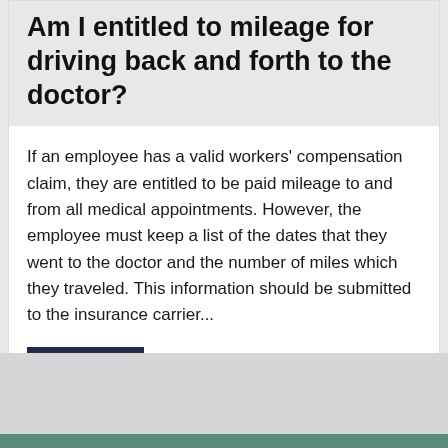Am I entitled to mileage for driving back and forth to the doctor?
If an employee has a valid workers' compensation claim, they are entitled to be paid mileage to and from all medical appointments. However, the employee must keep a list of the dates that they went to the doctor and the number of miles which they traveled. This information should be submitted to the insurance carrier...